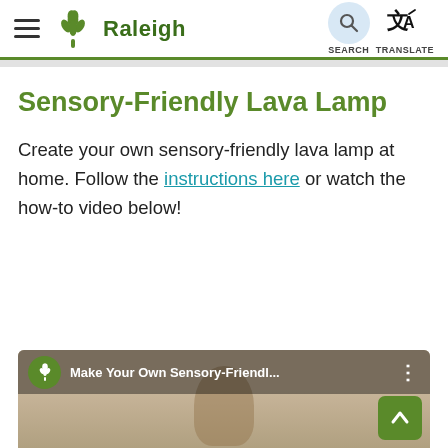Raleigh — navigation header with hamburger menu, search, and translate buttons
Sensory-Friendly Lava Lamp
Create your own sensory-friendly lava lamp at home. Follow the instructions here or watch the how-to video below!
[Figure (screenshot): Video thumbnail showing a person with text overlay 'Make Your Own Sensory-Friendl...' with Raleigh logo circle and three-dot menu]